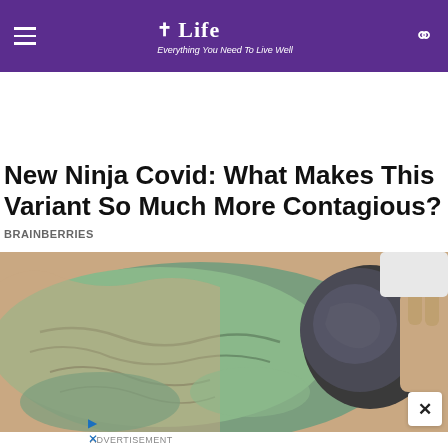Life — Everything You Need To Live Well
New Ninja Covid: What Makes This Variant So Much More Contagious?
BRAINBERRIES
[Figure (photo): Close-up photo of a person's arm/thigh with green clay or mud applied to the skin, and a dark stone or ceramic object being pressed against it.]
ADVERTISEMENT
[Figure (screenshot): Advertisement banner with Lidl logo, checkmark icon, text 'In-store shopping', and a blue navigation/direction arrow diamond icon.]